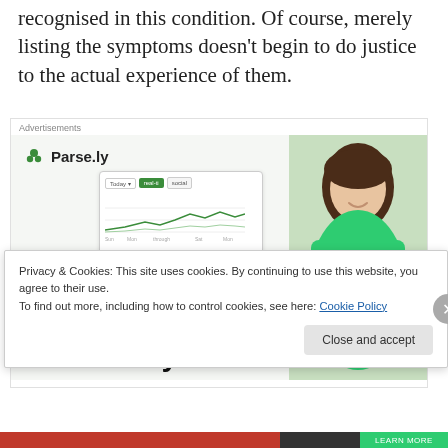recognised in this condition. Of course, merely listing the symptoms doesn't begin to do justice to the actual experience of them.
[Figure (screenshot): Parse.ly advertisement: 'Content Analytics Made Easy' with a mock analytics dashboard chart and a photo of a woman in a green sweater smiling. Labelled 'Advertisements' at top.]
Privacy & Cookies: This site uses cookies. By continuing to use this website, you agree to their use.
To find out more, including how to control cookies, see here: Cookie Policy
Close and accept